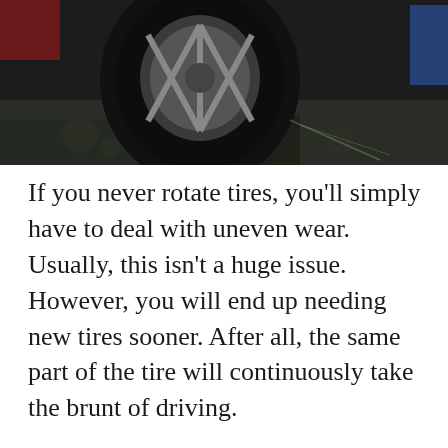[Figure (photo): Dark photograph showing a car tire/wheel on wet pavement, partially visible at the top of the page. The wheel appears to be an alloy wheel on dark, wet ground.]
If you never rotate tires, you'll simply have to deal with uneven wear. Usually, this isn't a huge issue. However, you will end up needing new tires sooner. After all, the same part of the tire will continuously take the brunt of driving.
Over time, this will make your tire's tread wear down below the legal limit faster in these areas. Therefore, you will need new tires